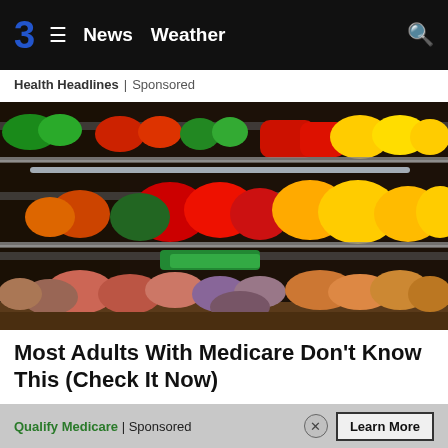3  ≡  News  Weather  🔍
Health Headlines | Sponsored
[Figure (photo): Grocery store produce section showing multiple shelves stocked with colorful fruits and vegetables including bell peppers, potatoes, carrots, green beans, and other produce.]
Most Adults With Medicare Don't Know This (Check It Now)
Qualify Medicare | Sponsored   Learn More